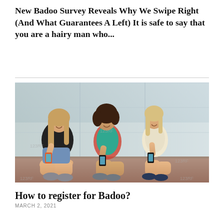New Badoo Survey Reveals Why We Swipe Right (And What Guarantees A Left) It is safe to say that you are a hairy man who...
[Figure (photo): Three young women sitting against a glass wall outdoors, each looking at and using a smartphone, smiling. They are wearing casual summer clothes. Stock photo with 123RF watermarks.]
How to register for Badoo?
MARCH 2, 2021